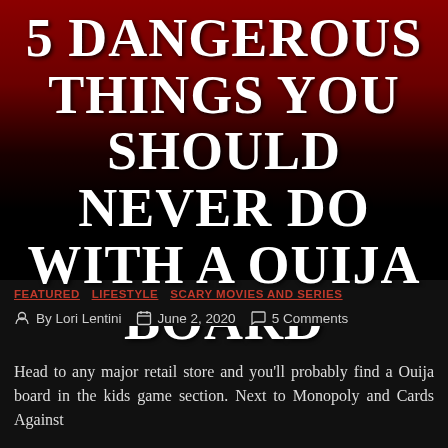5 DANGEROUS THINGS YOU SHOULD NEVER DO WITH A OUIJA BOARD
FEATURED  LIFESTYLE  SCARY MOVIES AND SERIES
By Lori Lentini   June 2, 2020   5 Comments
Head to any major retail store and you'll probably find a Ouija board in the kids game section. Next to Monopoly and Cards Against